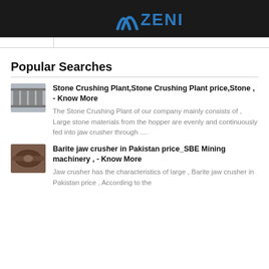ZENIT
Popular Searches
Stone Crushing Plant,Stone Crushing Plant price,Stone , - Know More
The Stone Crushing Plant of our company mainly consists of , Large stone materials from the hopper are evenly and continuously fed into jaw crusher through ....
Barite jaw crusher in Pakistan price_SBE Mining machinery , - Know More
Jaw crusher has the characteristics of large , Barite jaw crusher in Pakistan price , According to the